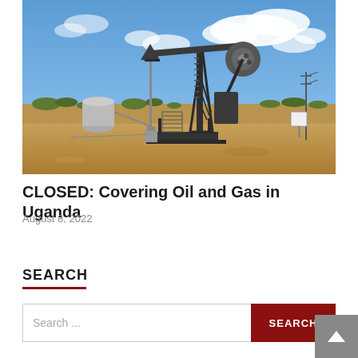[Figure (photo): Oil pump jack (pumpjack) against a blue sky with white clouds, in a dry desert landscape with sparse vegetation and sandy ground.]
CLOSED: Covering Oil and Gas in Uganda
August 8, 2022
SEARCH
Search ...